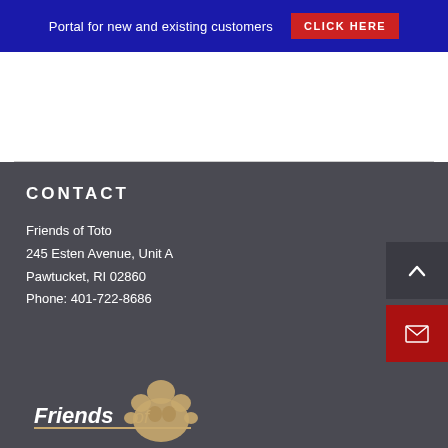Portal for new and existing customers   CLICK HERE
CONTACT
Friends of Toto
245 Esten Avenue, Unit A
Pawtucket, RI 02860
Phone: 401-722-8686
[Figure (logo): Friends of Toto logo with paw print graphic and stylized text reading 'Friends of']